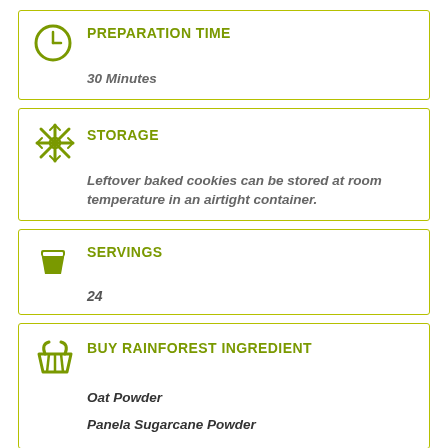PREPARATION TIME
30 Minutes
STORAGE
Leftover baked cookies can be stored at room temperature in an airtight container.
SERVINGS
24
BUY RAINFOREST INGREDIENT
Oat Powder
Panela Sugarcane Powder